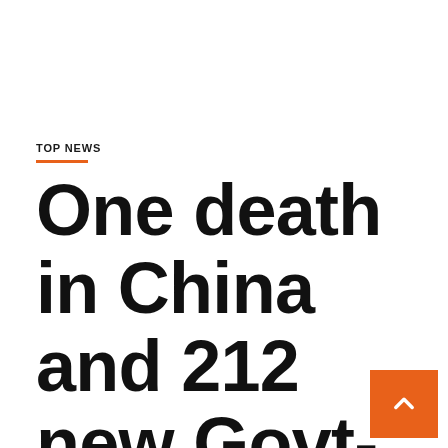TOP NEWS
One death in China and 212 new Govt-19 cases | Coronavirus | Shanghai